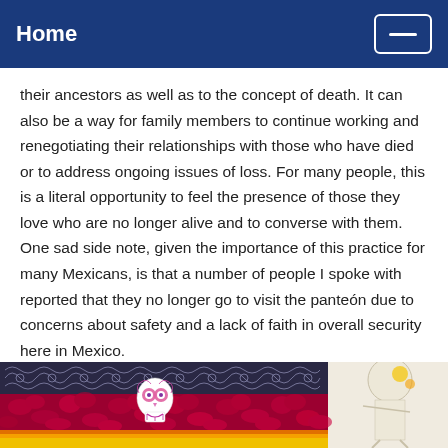Home
their ancestors as well as to the concept of death. It can also be a way for family members to continue working and renegotiating their relationships with those who have died or to address ongoing issues of loss. For many people, this is a literal opportunity to feel the presence of those they love who are no longer alive and to converse with them. One sad side note, given the importance of this practice for many Mexicans, is that a number of people I spoke with reported that they no longer go to visit the panteón due to concerns about safety and a lack of faith in overall security here in Mexico.
[Figure (photo): Decorative photo showing a Día de los Muertos altar display with ornate tile border, red flower petals (likely roses), marigold flowers in orange/yellow, a sugar skull decoration, and a skeleton figure in the upper right.]